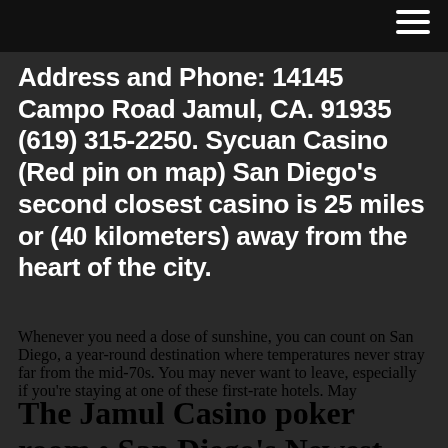Address and Phone: 14145 Campo Road Jamul, CA. 91935 (619) 315-2250. Sycuan Casino (Red pin on map) San Diego's second closest casino is 25 miles or (40 kilometers) away from the heart of the city.
Whenever you need a dose of sunshine, you can count on San Diego, a year-round destination where temperatures never stray far from the mid-70s. You may never want to leave, especially if you're staying at one of these first-rate hotels. May
The Jamul Casino poker room • San Diego's Newest Place to Play. Plu...